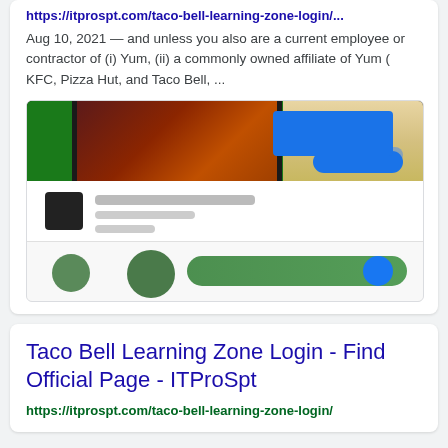https://itprospt.com/taco-bell-learning-zone-login/...
Aug 10, 2021 — and unless you also are a current employee or contractor of (i) Yum, (ii) a commonly owned affiliate of Yum ( KFC, Pizza Hut, and Taco Bell, ...
[Figure (screenshot): Blurred screenshot of Taco Bell Learning Zone login page showing a dark header with food image, a blue button, map area on the right, and social media profile elements below.]
Taco Bell Learning Zone Login - Find Official Page - ITProSpt
https://itprospt.com/taco-bell-learning-zone-login/